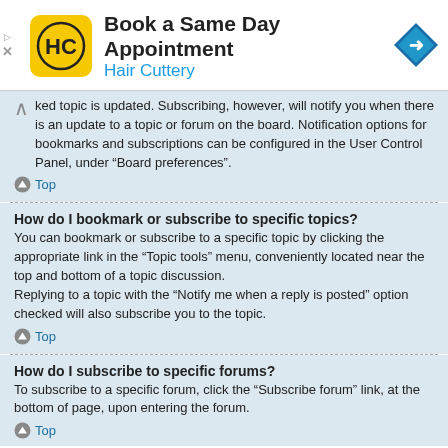[Figure (infographic): Hair Cuttery advertisement banner: logo (HC in yellow circle), title 'Book a Same Day Appointment', subtitle 'Hair Cuttery', blue navigation arrow icon on right, play/close controls on left]
ked topic is updated. Subscribing, however, will notify you when there is an update to a topic or forum on the board. Notification options for bookmarks and subscriptions can be configured in the User Control Panel, under “Board preferences”.
Top
How do I bookmark or subscribe to specific topics?
You can bookmark or subscribe to a specific topic by clicking the appropriate link in the “Topic tools” menu, conveniently located near the top and bottom of a topic discussion.
Replying to a topic with the “Notify me when a reply is posted” option checked will also subscribe you to the topic.
Top
How do I subscribe to specific forums?
To subscribe to a specific forum, click the “Subscribe forum” link, at the bottom of page, upon entering the forum.
Top